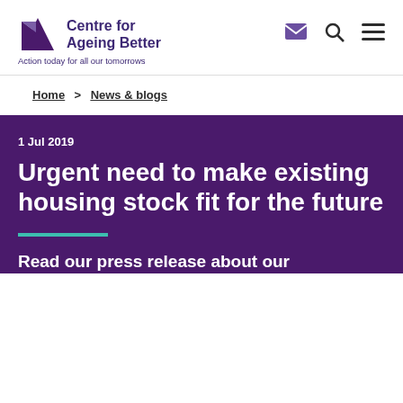[Figure (logo): Centre for Ageing Better logo with purple diamond/arrow icon and text 'Centre for Ageing Better'. Tagline: 'Action today for all our tomorrows']
Home > News & blogs
1 Jul 2019
Urgent need to make existing housing stock fit for the future
Read our press release about our partnership with Care & Repair...